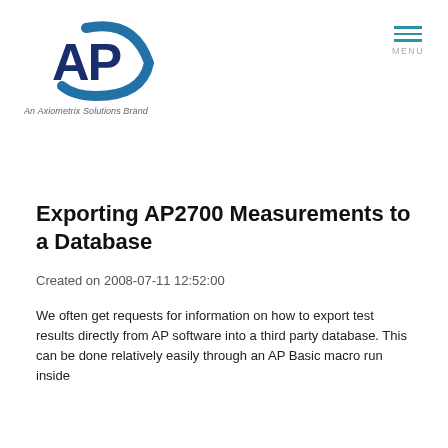[Figure (logo): AP logo with blue arc and dark blue bold AP letters, tagline 'An Axiometrix Solutions Brand' below]
Exporting AP2700 Measurements to a Database
Created on 2008-07-11 12:52:00
We often get requests for information on how to export test results directly from AP software into a third party database. This can be done relatively easily through an AP Basic macro run inside